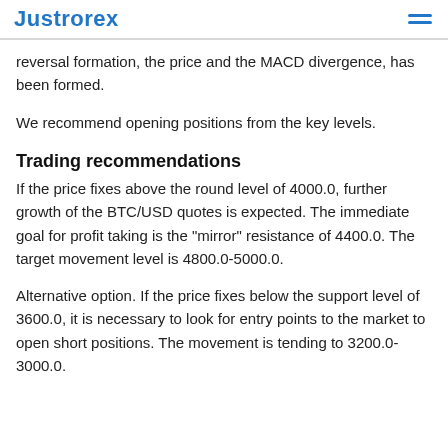JustForex
reversal formation, the price and the MACD divergence, has been formed.
We recommend opening positions from the key levels.
Trading recommendations
If the price fixes above the round level of 4000.0, further growth of the BTC/USD quotes is expected. The immediate goal for profit taking is the “mirror” resistance of 4400.0. The target movement level is 4800.0-5000.0.
Alternative option. If the price fixes below the support level of 3600.0, it is necessary to look for entry points to the market to open short positions. The movement is tending to 3200.0-3000.0.